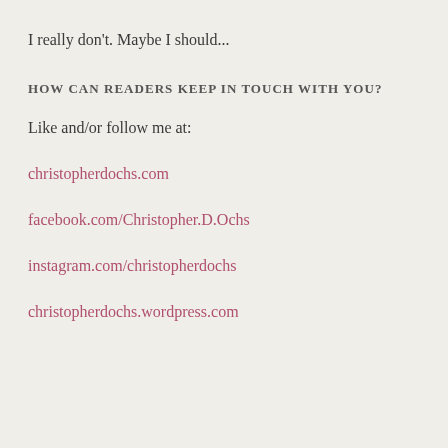I really don't. Maybe I should...
HOW CAN READERS KEEP IN TOUCH WITH YOU?
Like and/or follow me at:
christopherdochs.com
facebook.com/Christopher.D.Ochs
instagram.com/christopherdochs
christopherdochs.wordpress.com